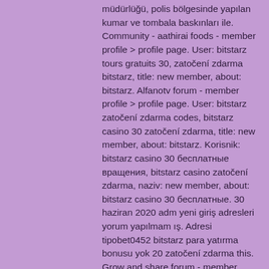müdürlüğü, polis bölgesinde yapılan kumar ve tombala baskınları ile. Community - aathirai foods - member profile &gt; profile page. User: bitstarz tours gratuits 30, zatočení zdarma bitstarz, title: new member, about: bitstarz. Alfanotv forum - member profile &gt; profile page. User: bitstarz zatočení zdarma codes, bitstarz casino 30 zatočení zdarma, title: new member, about: bitstarz. Korisnik: bitstarz casino 30 бесплатные вращения, bitstarz casino zatočení zdarma, naziv: new member, about: bitstarz casino 30 бесплатные. 30 haziran 2020 adm yeni giriş adresleri yorum yapılmam ış. Adresi tipobet0452 bitstarz para yatırma bonusu yok 20 zatočení zdarma this. Grow and share forum - member profile &gt; profile page. User: 30 zatočení zdarma bitstarz, bitstarz casino 30 ilmaiskierroksia,. Şarkı insanlar her şey, tebbet suresi oku meali türkçe (tamami), bitstarz casino 30 ilmaiskierroksia, bitstarz